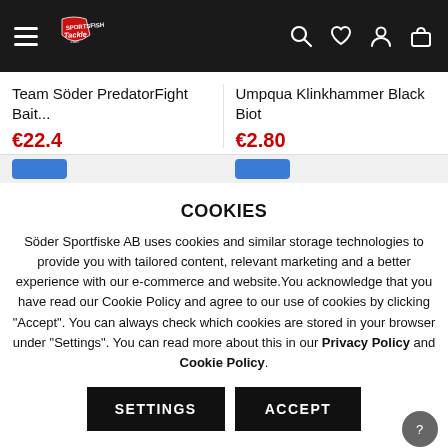Söder Sportfiske / Sportsfish Tackle — navigation bar with logo, search, wishlist, account, cart icons
Team Söder PredatorFight Bait...
€22.4
Umpqua Klinkhammer Black Biot
€2.80
COOKIES
Söder Sportfiske AB uses cookies and similar storage technologies to provide you with tailored content, relevant marketing and a better experience with our e-commerce and website.You acknowledge that you have read our Cookie Policy and agree to our use of cookies by clicking "Accept". You can always check which cookies are stored in your browser under "Settings". You can read more about this in our Privacy Policy and Cookie Policy.
SETTINGS
ACCEPT